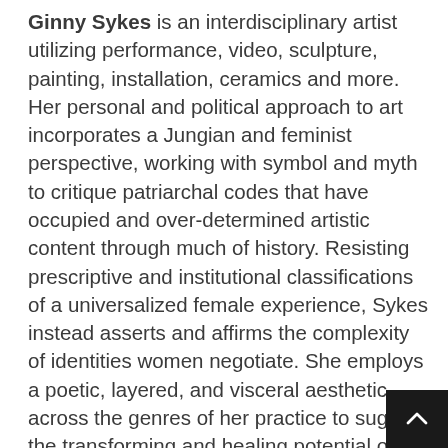Ginny Sykes is an interdisciplinary artist utilizing performance, video, sculpture, painting, installation, ceramics and more. Her personal and political approach to art incorporates a Jungian and feminist perspective, working with symbol and myth to critique patriarchal codes that have occupied and over-determined artistic content through much of history. Resisting prescriptive and institutional classifications of a universalized female experience, Sykes instead asserts and affirms the complexity of identities women negotiate. She employs a poetic, layered, and visceral aesthetic across the genres of her practice to suggest the transforming and healing potential of art, and to invite new cultural, emotional, and psychological understandings. An example of this is Sykes's recent project 100 Women: Collaborations Beyond the Veil, which commemorates the 100th anniversary of the 19th amendment, granting women the right to vote. Through a photographic and performance lens, 100 diverse women posed for Sykes to create a